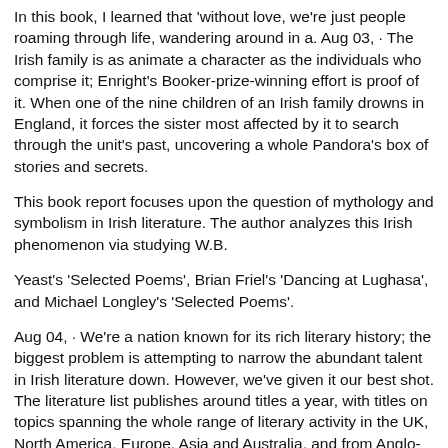In this book, I learned that 'without love, we're just people roaming through life, wandering around in a. Aug 03,  · The Irish family is as animate a character as the individuals who comprise it; Enright's Booker-prize-winning effort is proof of it. When one of the nine children of an Irish family drowns in England, it forces the sister most affected by it to search through the unit's past, uncovering a whole Pandora's box of stories and secrets.
This book report focuses upon the question of mythology and symbolism in Irish literature. The author analyzes this Irish phenomenon via studying W.B.
Yeast's 'Selected Poems', Brian Friel's 'Dancing at Lughasa', and Michael Longley's 'Selected Poems'.
Aug 04,  · We're a nation known for its rich literary history; the biggest problem is attempting to narrow the abundant talent in Irish literature down. However, we've given it our best shot. The literature list publishes around titles a year, with titles on topics spanning the whole range of literary activity in the UK, North America, Europe, Asia and Australia, and from Anglo-Saxon times to.
Brand new Book. Northern Irish Literature, and its companion volume, Northern Irish Literatureexamine the contexts for